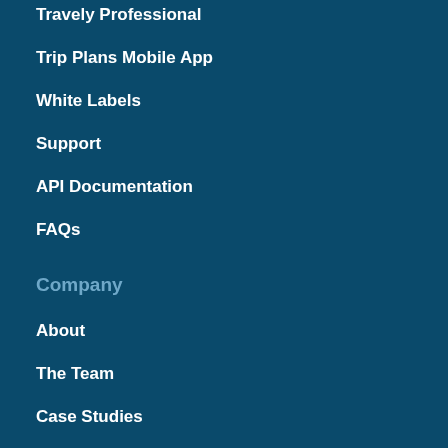Travely Professional
Trip Plans Mobile App
White Labels
Support
API Documentation
FAQs
Company
About
The Team
Case Studies
Press Information
Contact Us
Blog
Sign In